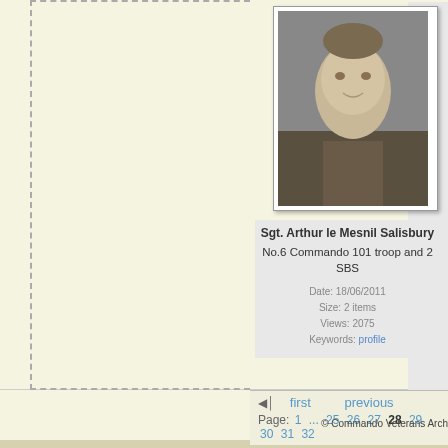[Figure (photo): Black and white portrait photograph of Sgt. Arthur le Mesnil Salisbury in military uniform]
Sgt. Arthur le Mesnil Salisbury
No.6 Commando 101 troop and 2 SBS
Date: 18/06/2011
Size: 2 items
Views: 2075
Keywords: profile
first   previous
Page: 1 ... 25 26 27 28 29 30 31 32
© Commando Veterans Arch